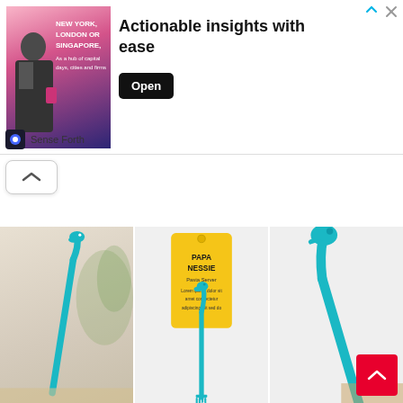[Figure (screenshot): Advertisement banner: image of businessman with text 'NEW YORK, LONDON OR SINGAPORE,' on left, bold text 'Actionable insights with ease' in center, black 'Open' button on right. Brand row shows 'Sense Forth' logo at bottom.]
[Figure (photo): Three product photos of a teal Nessie (Loch Ness monster) shaped pasta server/ladle kitchen utensil. Left photo: close-up side view. Center photo: product in yellow retail packaging labeled 'PAPA NESSIE Pasta Server'. Right photo: close-up of head detail.]